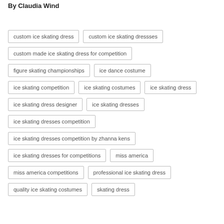By Claudia Wind
custom ice skating dress
custom ice skating dressses
custom made ice skating dress for competition
figure skating championships
ice dance costume
ice skating competition
ice skating costumes
ice skating dress
ice skating dress designer
ice skating dresses
ice skating dresses competition
ice skating dresses competition by zhanna kens
ice skating dresses for competitions
miss america
miss america competitions
professional ice skating dress
quality ice skating costumes
skating dress